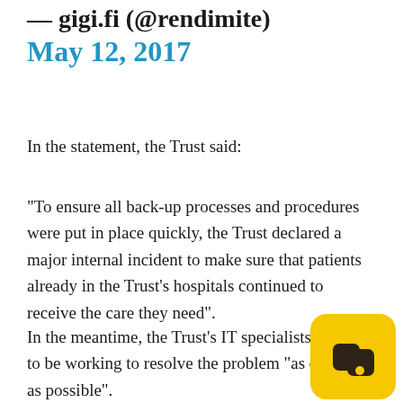— gigi.fi (@rendimite) May 12, 2017
In the statement, the Trust said:
"To ensure all back-up processes and procedures were put in place quickly, the Trust declared a major internal incident to make sure that patients already in the Trust's hospitals continued to receive the care they need".
In the meantime, the Trust's IT specialists are said to be working to resolve the problem "as quickly as possible".
[Figure (logo): Yellow rounded square badge with two dark brown overlapping speech bubble / paw shapes inside]